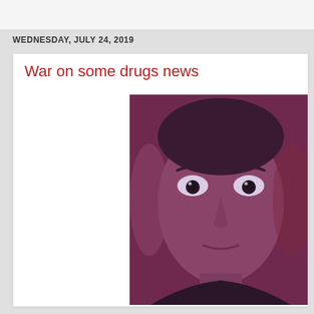WEDNESDAY, JULY 24, 2019
War on some drugs news
[Figure (photo): Close-up photo of a young man's face under reddish-purple lighting with wide, staring eyes]